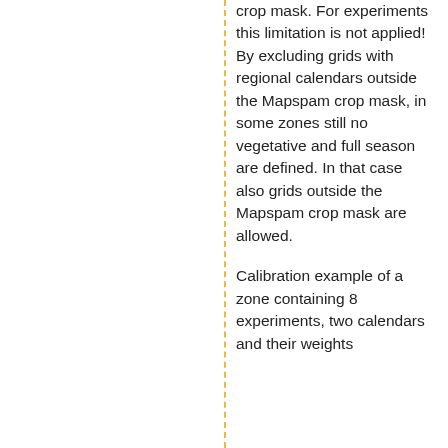crop mask. For experiments this limitation is not applied! By excluding grids with regional calendars outside the Mapspam crop mask, in some zones still no vegetative and full season are defined. In that case also grids outside the Mapspam crop mask are allowed.
Calibration example of a zone containing 8 experiments, two calendars and their weights